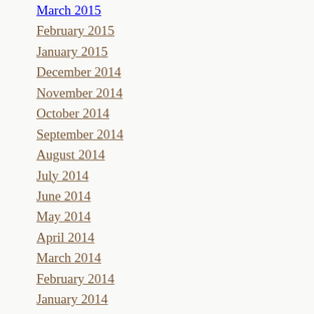March 2015
February 2015
January 2015
December 2014
November 2014
October 2014
September 2014
August 2014
July 2014
June 2014
May 2014
April 2014
March 2014
February 2014
January 2014
December 2013
November 2013
October 2013
September 2013